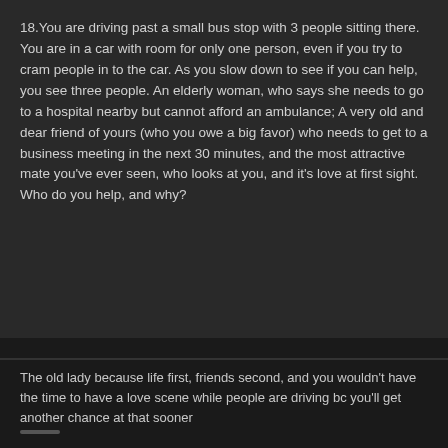18.You are driving past a small bus stop with 3 people sitting there. You are in a car with room for only one person, even if you try to cram people in to the car. As you slow down to see if you can help, you see three people. An elderly woman, who says she needs to go to a hospital nearby but cannot afford an ambulance; A very old and dear friend of yours (who you owe a big favor) who needs to get to a business meeting in the next 30 minutes, and the most attractive mate you've ever seen, who looks at you, and it's love at first sight. Who do you help, and why?
The old lady because life first, friends second, and you wouldn't have the time to have a love scene while people are driving bc you'll get another chance at that sooner